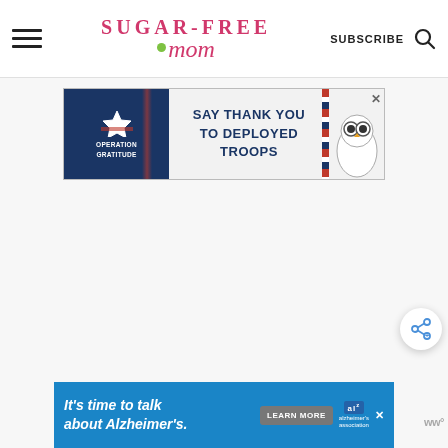Sugar-Free Mom — navigation header with hamburger menu, logo, SUBSCRIBE button, and search icon
[Figure (screenshot): Operation Gratitude advertisement banner: 'SAY THANK YOU TO DEPLOYED TROOPS' with owl mascot and patriotic imagery]
[Figure (infographic): Alzheimer's Association advertisement: 'It's time to talk about Alzheimer's.' with LEARN MORE button and Alzheimer's association logo]